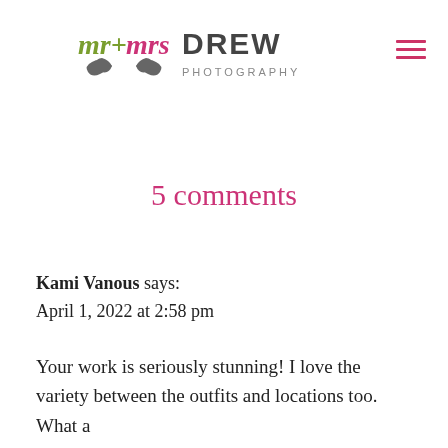[Figure (logo): Mr + Mrs Drew Photography logo with mustache graphic and olive/pink/grey branding]
5 comments
Kami Vanous says:
April 1, 2022 at 2:58 pm
Your work is seriously stunning! I love the variety between the outfits and locations too. What a